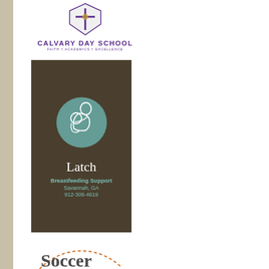[Figure (logo): Calvary Day School logo with purple cross/shield emblem and text 'CALVARY DAY SCHOOL' with tagline 'FAITH + ACADEMICS + EXCELLENCE']
[Figure (logo): Latch Breastfeeding Support advertisement. Dark brown background with teal circular logo showing mother and baby silhouette. Text: Latch, Breastfeeding Support, Savannah, GA, 912-306-4619]
[Figure (logo): Soccer organization logo partially visible at bottom with dashed orange circle outline and the word 'Soccer' in dark gray serif font]